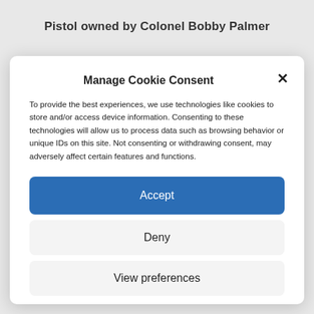Pistol owned by Colonel Bobby Palmer
Manage Cookie Consent
To provide the best experiences, we use technologies like cookies to store and/or access device information. Consenting to these technologies will allow us to process data such as browsing behavior or unique IDs on this site. Not consenting or withdrawing consent, may adversely affect certain features and functions.
Accept
Deny
View preferences
Cookie Policy  Privacy Policy